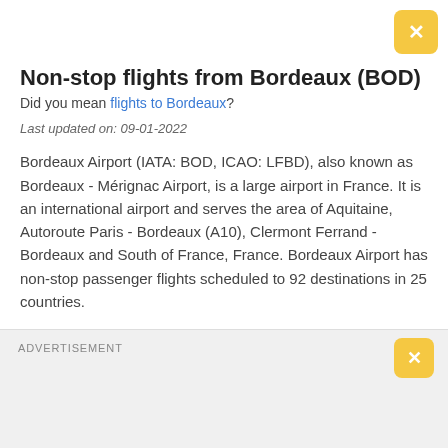Non-stop flights from Bordeaux (BOD)
Did you mean flights to Bordeaux?
Last updated on: 09-01-2022
Bordeaux Airport (IATA: BOD, ICAO: LFBD), also known as Bordeaux - Mérignac Airport, is a large airport in France. It is an international airport and serves the area of Aquitaine, Autoroute Paris - Bordeaux (A10), Clermont Ferrand - Bordeaux and South of France, France. Bordeaux Airport has non-stop passenger flights scheduled to 92 destinations in 25 countries.
At present, there are 11 domestic flights from Bordeaux.
ADVERTISEMENT